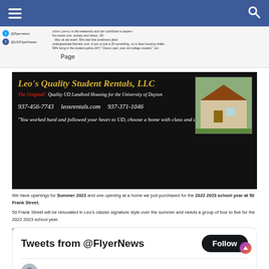Navigation bar with hamburger menu and search icon
Page snippet with @flyernews @UDFlyerNews social links and article text
[Figure (infographic): Leo's Quality Student Rentals LLC advertisement banner with gold italic title, house photo, phone numbers 937-456-7743, leosrentals.com, 937-371-1046, and quote about UD]
We have openings for Summer 2022 and one opening at a home we just purchased for the 2022 2023 school year at 50 Frank Street. 50 Frank Street will be renovated in Leo's classic signature style over the summer and needs a group of four to five for the 2022 2023 school year. Call 937-456-7743 or 937-371-1046 for details on our summer housing or 50 Frank Street for the 2022 2023 school year. See our website for pictures of homes and more information: www.leosrentals.com
Tweets from @FlyerNews
Flyer News Retweeted